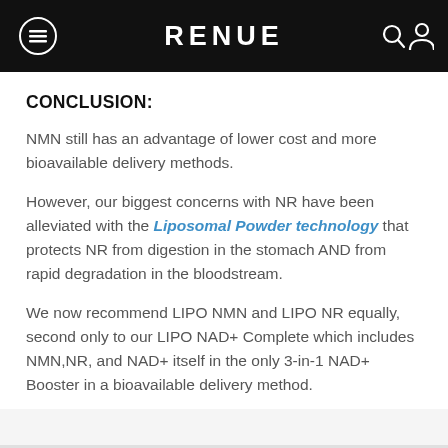RENUE
CONCLUSION:
NMN still has an advantage of lower cost and more bioavailable delivery methods.
However, our biggest concerns with NR have been alleviated with the Liposomal Powder technology that protects NR from digestion in the stomach AND from rapid degradation in the bloodstream.
We now recommend LIPO NMN and LIPO NR equally, second only to our LIPO NAD+ Complete which includes NMN,NR, and NAD+ itself in the only 3-in-1 NAD+ Booster in a bioavailable delivery method.